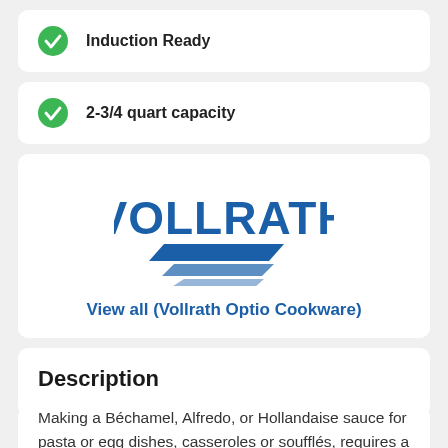Induction Ready
2-3/4 quart capacity
[Figure (logo): Vollrath brand logo in blue with chevron/arrow motif below text]
View all (Vollrath Optio Cookware)
Description
Making a Béchamel, Alfredo, or Hollandaise sauce for pasta or egg dishes, casseroles or soufflés, requires a pan that has higher sides and sturdy construction. When needing a pan like this, look no further than the Vollrath 3802 Optio® Sauce Pan. Made of out of stainless steel,